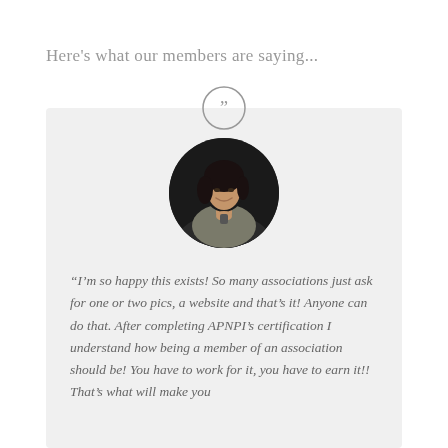Here's what our members are saying...
[Figure (photo): Circular portrait photo of a smiling woman with dark hair, holding something in her hands, against a dark background. Above the photo is a large quotation mark icon in a circle.]
“I’m so happy this exists! So many associations just ask for one or two pics, a website and that’s it! Anyone can do that. After completing APNPI’s certification I understand how being a member of an association should be! You have to work for it, you have to earn it!! That’s what will make you